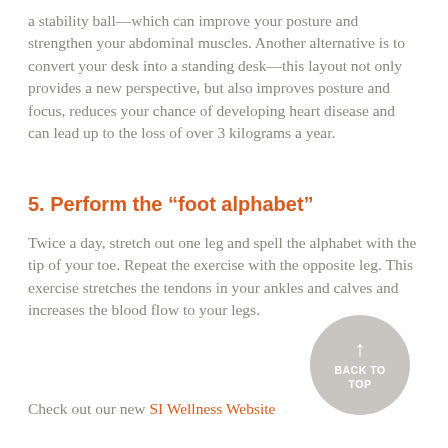a stability ball—which can improve your posture and strengthen your abdominal muscles. Another alternative is to convert your desk into a standing desk—this layout not only provides a new perspective, but also improves posture and focus, reduces your chance of developing heart disease and can lead up to the loss of over 3 kilograms a year.
5. Perform the “foot alphabet”
Twice a day, stretch out one leg and spell the alphabet with the tip of your toe. Repeat the exercise with the opposite leg. This exercise stretches the tendons in your ankles and calves and increases the blood flow to your legs.
[Figure (infographic): A circular grey button with an upward arrow and the text BACK TO TOP]
Check out our new SI Wellness Website